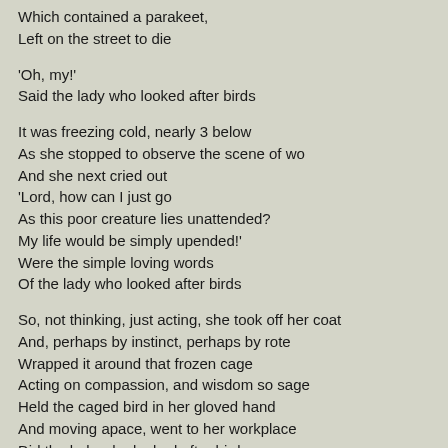Which contained a parakeet,
Left on the street to die

'Oh, my!'
Said the lady who looked after birds

It was freezing cold, nearly 3 below
As she stopped to observe the scene of wo
And she next cried out
'Lord, how can I just go
As this poor creature lies unattended?
My life would be simply upended!'
Were the simple loving words
Of the lady who looked after birds

So, not thinking, just acting, she took off her coat
And, perhaps by instinct, perhaps by rote
Wrapped it around that frozen cage
Acting on compassion, and wisdom so sage
Held the caged bird in her gloved hand
And moving apace, went to her workplace
Did the lady who looked after birds